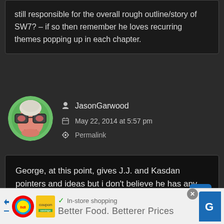still responsible for the overall rough outline/story of SW7? – if so then remember he loves recurring themes popping up in each chapter.
JasonGarwood
May 22, 2014 at 5:57 pm
Permalink
George, at this point, gives J.J. and Kasdan pointers and ideas but i don't believe he has any significant say in the story, no.
In-store shopping
Better Food. Betterer Prices